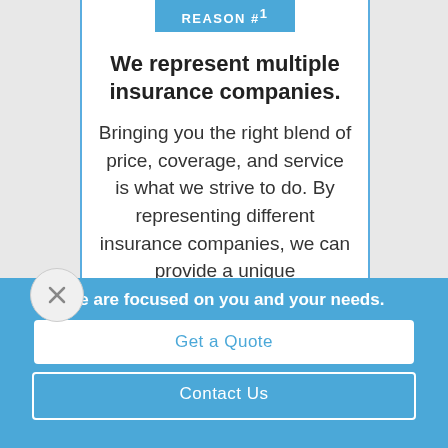REASON #1
We represent multiple insurance companies.
Bringing you the right blend of price, coverage, and service is what we strive to do. By representing different insurance companies, we can provide a unique
We are focused on you and your needs.
Get a Quote
Contact Us